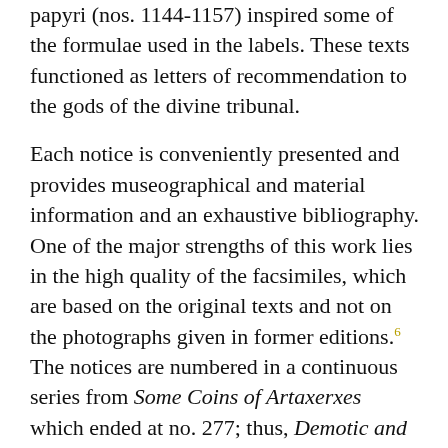papyri (nos. 1144-1157) inspired some of the formulae used in the labels. These texts functioned as letters of recommendation to the gods of the divine tribunal.
Each notice is conveniently presented and provides museographical and material information and an exhaustive bibliography. One of the major strengths of this work lies in the high quality of the facsimiles, which are based on the original texts and not on the photographs given in former editions.6 The notices are numbered in a continuous series from Some Coins of Artaxerxes which ended at no. 277; thus, Demotic and Greek-Demotic mummy labels begins at no. 278.
The monumental work of gathering, correcting